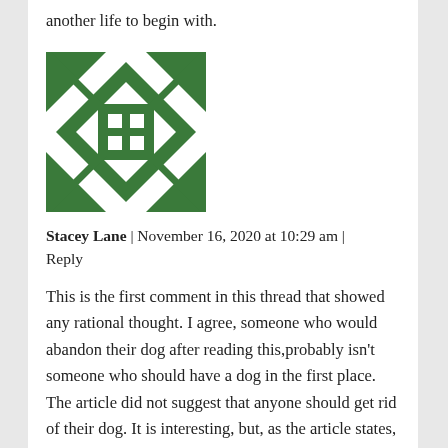another life to begin with.
[Figure (logo): Green geometric quilt-pattern avatar icon, square with diagonal lines and grid pattern in green on white background]
Stacey Lane | November 16, 2020 at 10:29 am | Reply
This is the first comment in this thread that showed any rational thought. I agree, someone who would abandon their dog after reading this, probably isn't someone who should have a dog in the first place. The article did not suggest that anyone should get rid of their dog. It is interesting, but, as the article states, the study didn't attempt to draw conclusions. It simply seeks to provide data. It's a